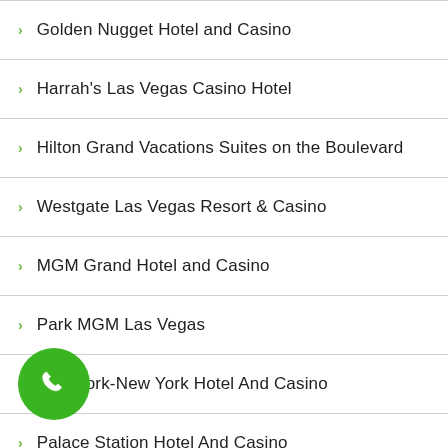Golden Nugget Hotel and Casino
Harrah's Las Vegas Casino Hotel
Hilton Grand Vacations Suites on the Boulevard
Westgate Las Vegas Resort & Casino
MGM Grand Hotel and Casino
Park MGM Las Vegas
New York-New York Hotel And Casino
Palace Station Hotel And Casino
Palms Place at the Palms
Planet Hollywood Resort And Casino
Polo Towers
[Figure (illustration): Green circular phone call button with white phone handset icon]